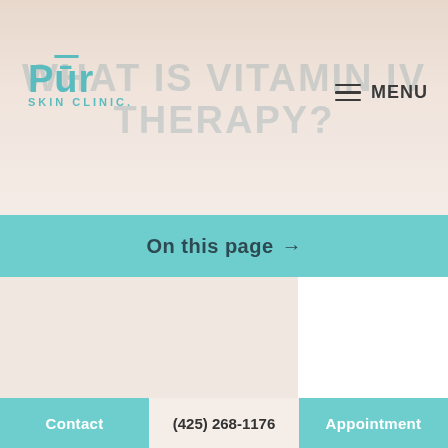[Figure (photo): Hero banner image of a person receiving skin treatment, light pinkish-beige tones]
WHAT IS VITAMIN IV THERAPY?
[Figure (logo): Pur Skin Clinic logo in teal with macron over u]
MENU
On this page →
Contact
(425) 268-1176
Appointment